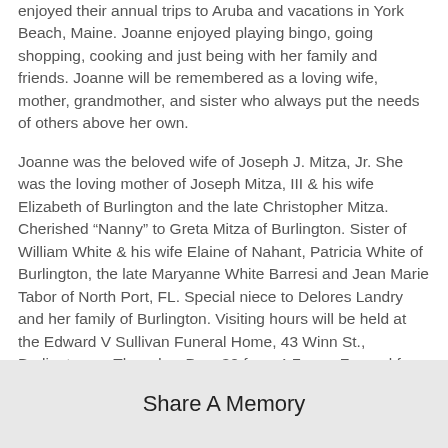enjoyed their annual trips to Aruba and vacations in York Beach, Maine.  Joanne enjoyed playing bingo, going shopping, cooking and just being with her family and friends.  Joanne will be remembered as a loving wife, mother, grandmother, and sister who always put the needs of others above her own.
Joanne was the beloved wife of Joseph J. Mitza, Jr.  She was the loving mother of Joseph Mitza, III & his wife Elizabeth of Burlington and the late Christopher Mitza.  Cherished "Nanny" to Greta Mitza of Burlington.  Sister of William White & his wife Elaine of Nahant, Patricia White of Burlington, the late Maryanne White Barresi and Jean Marie Tabor of North Port, FL.  Special niece to Delores Landry and her family of Burlington.   Visiting hours will be held at the Edward V Sullivan Funeral Home, 43 Winn St., Burlington on Thursday, Dec. 30 from 4-7 p.m.  Funeral from the Funeral Home on Friday, Dec. 31 at 9 a.m.  Followed by a Mass of Christian Burial at St. Malachy Church in St. Veronica Parish, www.stveronicama.org, 99 Bedford St. Burlington at 10 a.m.  Burial will be private.  The family requests that people attending the wake
Share A Memory